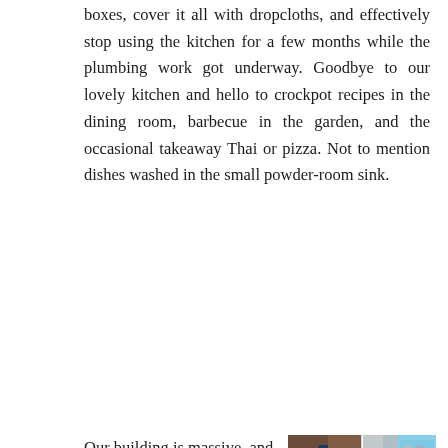boxes, cover it all with dropcloths, and effectively stop using the kitchen for a few months while the plumbing work got underway. Goodbye to our lovely kitchen and hello to crockpot recipes in the dining room, barbecue in the garden, and the occasional takeaway Thai or pizza. Not to mention dishes washed in the small powder-room sink.
Our building is massive, and the carpenters, plumbers, and crew hav...
[Figure (photo): A 2x3 grid of construction/renovation photos showing exposed wall cavity with red and dark pipes, plastic sheeting over windows, a sink covered in plastic, and colorful packaged items on a shelf.]